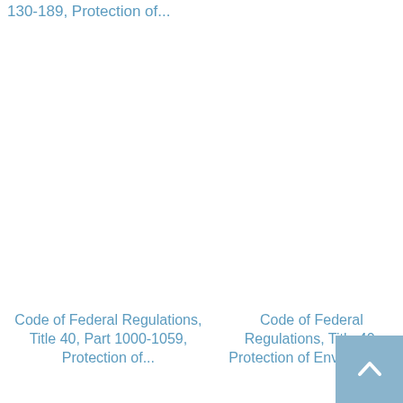130-189, Protection of...
Code of Federal Regulations, Title 40, Part 1000-1059, Protection of...
Code of Federal Regulations, Title 40, Protection of Environme...